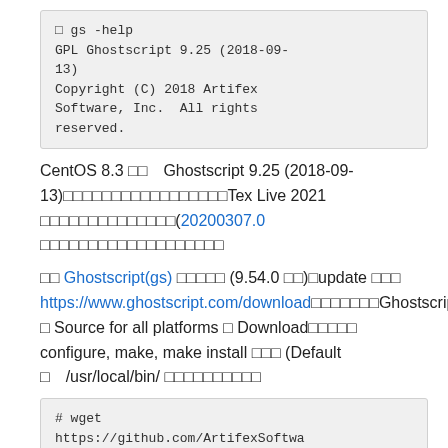□ gs -help
GPL Ghostscript 9.25 (2018-09-13)
Copyright (C) 2018 Artifex Software, Inc.  All rights reserved.
CentOS 8.3 □□　Ghostscript 9.25 (2018-09-13)□□□□□□□□□□□□□□□□□Tex Live 2021 □□□□□□□□□□□□□□(20200307.0 □□□□□□□□□□□□□□□□□□□
□□ Ghostscript(gs) □□□□□ (9.54.0 □□)□update □□□ https://www.ghostscript.com/download □□□□□□□Ghostscript □ Source for all platforms □ Download□□□□□ configure, make, make install □□□ (Default □　/usr/local/bin/ □□□□□□□□□□
# wget
https://github.com/ArtifexSoftwa